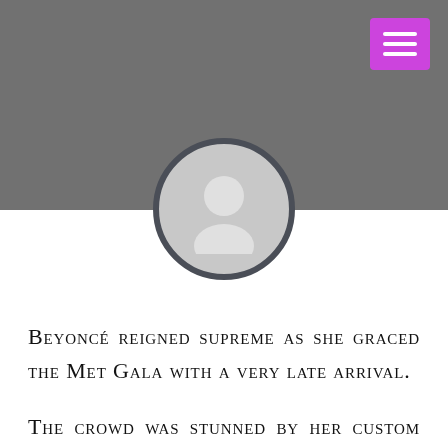[Figure (illustration): Gray header banner background with a purple hamburger menu button in the top-right corner and a circular placeholder avatar icon centered at the bottom of the banner.]
Beyoncé reigned supreme as she graced the Met Gala with a very late arrival.
The crowd was stunned by her custom Givenchy